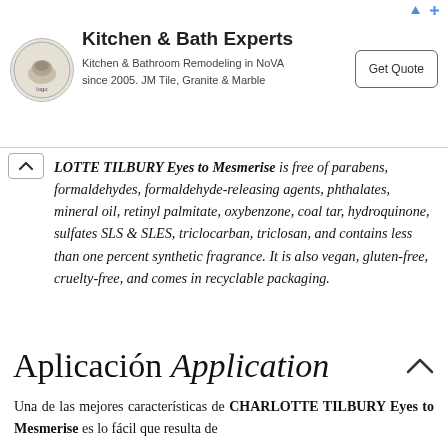[Figure (other): Advertisement banner for Kitchen & Bath Experts: kitchen and bathroom remodeling in NoVA since 2005, JM Tile, Granite & Marble. Includes logo, text, and Get Quote button.]
CHARLOTTE TILBURY Eyes to Mesmerise is free of parabens, formaldehydes, formaldehyde-releasing agents, phthalates, mineral oil, retinyl palmitate, oxybenzone, coal tar, hydroquinone, sulfates SLS & SLES, triclocarban, triclosan, and contains less than one percent synthetic fragrance. It is also vegan, gluten-free, cruelty-free, and comes in recyclable packaging.
Aplicación Application
Una de las mejores características de CHARLOTTE TILBURY Eyes to Mesmerise es lo fácil que resulta de